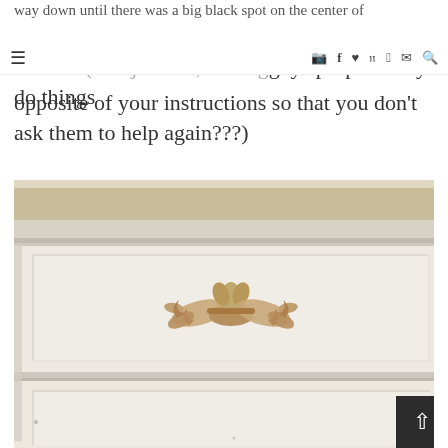way down until there was a big black spot on the center of
opposite of your instructions so that you don't ask them to help again???)
[Figure (photo): Close-up photo of a white painted dresser with ornate gold/bronze decorative drawer pull hardware in a scrolling floral design, showing multiple drawer fronts with molding details.]